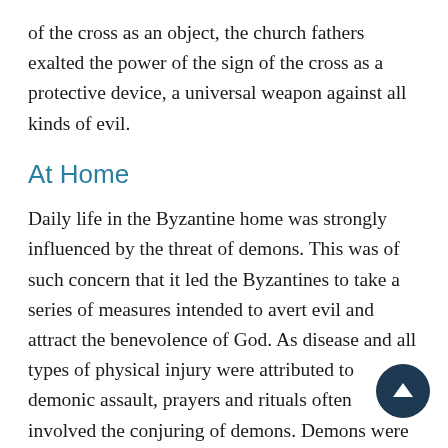of the cross as an object, the church fathers exalted the power of the sign of the cross as a protective device, a universal weapon against all kinds of evil.
At Home
Daily life in the Byzantine home was strongly influenced by the threat of demons. This was of such concern that it led the Byzantines to take a series of measures intended to avert evil and attract the benevolence of God. As disease and all types of physical injury were attributed to demonic assault, prayers and rituals often involved the conjuring of demons. Demons were expelled in the name of Christ, with additional help from angels and archangels.